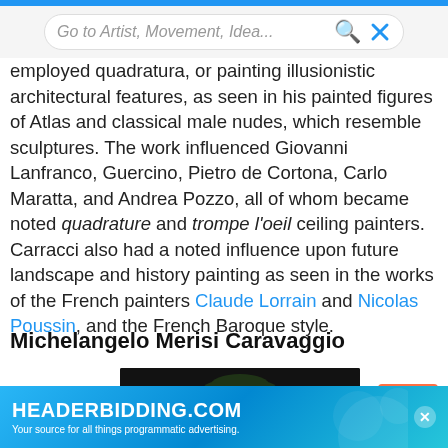Go to Artist, Movement, Idea...
employed quadratura, or painting illusionistic architectural features, as seen in his painted figures of Atlas and classical male nudes, which resemble sculptures. The work influenced Giovanni Lanfranco, Guercino, Pietro de Cortona, Carlo Maratta, and Andrea Pozzo, all of whom became noted quadrature and trompe l'oeil ceiling painters. Carracci also had a noted influence upon future landscape and history painting as seen in the works of the French painters Claude Lorrain and Nicolas Poussin, and the French Baroque style.
Michelangelo Merisi Caravaggio
[Figure (photo): Dark portrait painting of a young man wearing a wreath of leaves, likely Caravaggio's Bacchus or self-portrait]
HEADERBIDDING.COM - Your source for all things programmatic advertising.